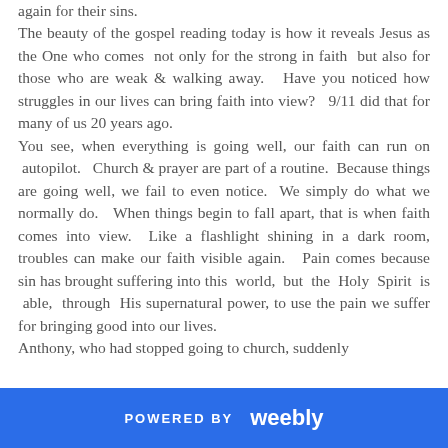again for their sins. The beauty of the gospel reading today is how it reveals Jesus as the One who comes not only for the strong in faith but also for those who are weak & walking away. Have you noticed how struggles in our lives can bring faith into view? 9/11 did that for many of us 20 years ago. You see, when everything is going well, our faith can run on autopilot. Church & prayer are part of a routine. Because things are going well, we fail to even notice. We simply do what we normally do. When things begin to fall apart, that is when faith comes into view. Like a flashlight shining in a dark room, troubles can make our faith visible again. Pain comes because sin has brought suffering into this world, but the Holy Spirit is able, through His supernatural power, to use the pain we suffer for bringing good into our lives. Anthony, who had stopped going to church, suddenly
POWERED BY weebly